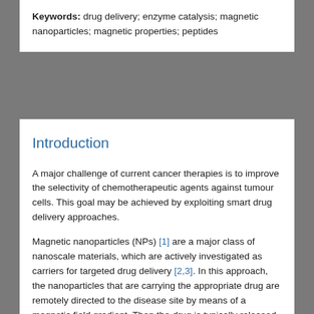Keywords: drug delivery; enzyme catalysis; magnetic nanoparticles; magnetic properties; peptides
Introduction
A major challenge of current cancer therapies is to improve the selectivity of chemotherapeutic agents against tumour cells. This goal may be achieved by exploiting smart drug delivery approaches.
Magnetic nanoparticles (NPs) [1] are a major class of nanoscale materials, which are actively investigated as carriers for targeted drug delivery [2,3]. In this approach, the nanoparticles that are carrying the appropriate drug are remotely directed to the disease site by means of a magnetic field gradient. Then the drug is typically released to the disease area through an unspecific mechanism.
Another promising drug delivery approach in cancer therapy is